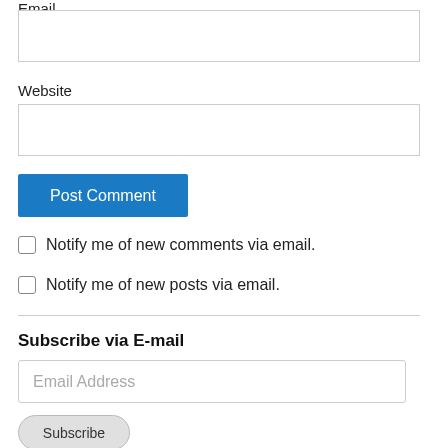Email
(email input field)
Website
(website input field)
Post Comment
Notify me of new comments via email.
Notify me of new posts via email.
Subscribe via E-mail
Email Address